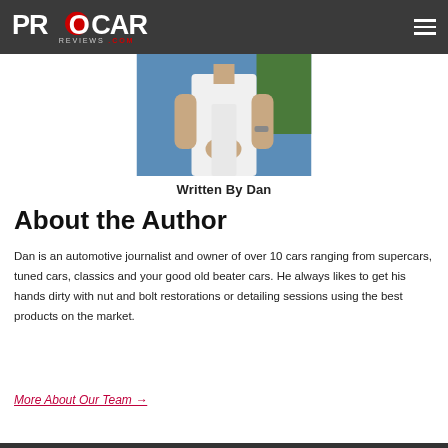PROCAR REVIEWS .COM
[Figure (photo): Author Dan shown from chest down, wearing white shirt, hands clasped, outdoors with blue water and greenery in background]
Written By Dan
About the Author
Dan is an automotive journalist and owner of over 10 cars ranging from supercars, tuned cars, classics and your good old beater cars. He always likes to get his hands dirty with nut and bolt restorations or detailing sessions using the best products on the market.
More About Our Team →